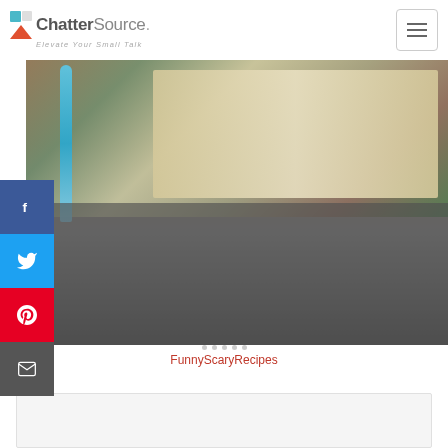ChatterSource. Elevate Your Small Talk
[Figure (photo): Food photo showing decorative piped cream/potato rosettes in a baking dish with vegetables and garnishes, partially obscured by dark overlay at the bottom]
FunnyScaryRecipes
[Figure (photo): Partially visible image at the bottom of the page, appears to be another food photo]